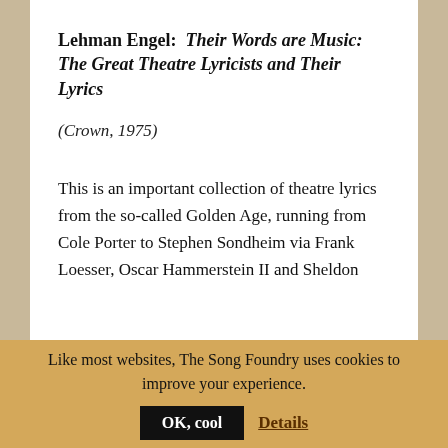Lehman Engel: Their Words are Music: The Great Theatre Lyricists and Their Lyrics
(Crown, 1975)
This is an important collection of theatre lyrics from the so-called Golden Age, running from Cole Porter to Stephen Sondheim via Frank Loesser, Oscar Hammerstein II and Sheldon Harnick. As a bonus, Engel has
Like most websites, The Song Foundry uses cookies to improve your experience.